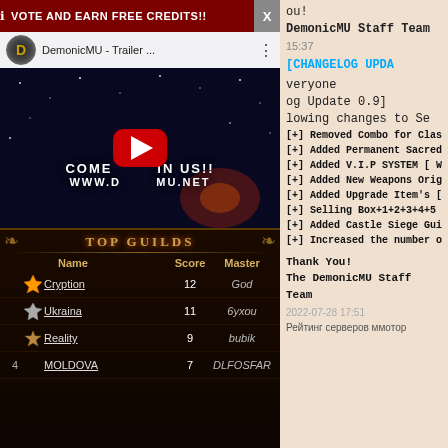[Figure (screenshot): Top dark red banner with 'VOTE AND EARN FREE CREDITS!!' text and X close button]
[Figure (screenshot): YouTube-style video thumbnail for DemonicMU - Trailer with play button, showing space background with text COME JOIN US!! WWW.DEMONICMU.NET]
[Figure (screenshot): Top Guilds leaderboard panel showing ranked players: 1. Cryption (Score 12, God), 2. Ukraina (Score 11, 6yxou), 3. Reality (Score 9, bubik), 4. MOLDOVA (Score 7, DLFOSFAR)]
ou!
DemonicMU Staff Team
15:37
[CHANGELOG UPDA
veryone
og Update 0.9]
lowing changes to Se
[+] Removed Combo for Class
[+] Added Permanent Sacred
[+] Added V.I.P SYSTEM [ We
[+] Added New Weapons Origi
[+] Added Upgrade Item's [
[+] Selling Box+1+2+3+4+5 a
[+] Added Castle Siege Guil
[+] Increased the number of
Thank You!
The DemonicMU Staff Team
2022-07-28 17:51
Рейтинг серверов ммотор